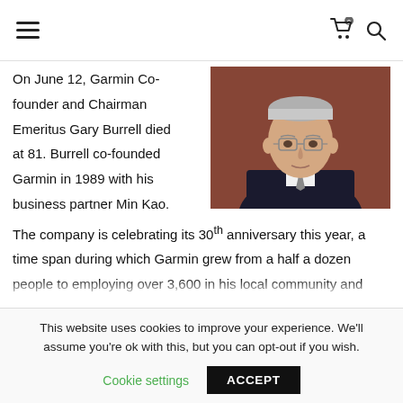Navigation bar with hamburger menu, cart icon (0 items), and search icon
On June 12, Garmin Co-founder and Chairman Emeritus Gary Burrell died at 81. Burrell co-founded Garmin in 1989 with his business partner Min Kao.
[Figure (photo): Portrait photo of Gary Burrell, an older man with grey hair and glasses wearing a dark suit, against a brownish-red background.]
The company is celebrating its 30th anniversary this year, a time span during which Garmin grew from a half a dozen people to employing over 3,600 in his local community and 13,000 people in total.
This website uses cookies to improve your experience. We'll assume you're ok with this, but you can opt-out if you wish.